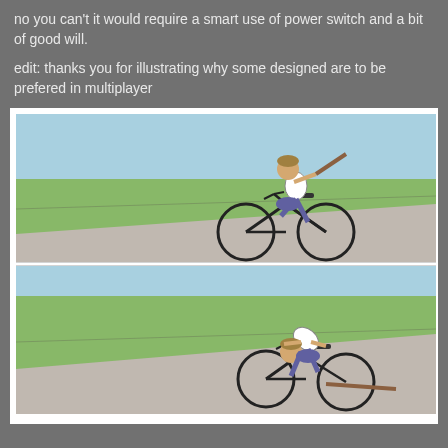no you can't it would require a smart use of power switch and a bit of good will.
edit: thanks you for illustrating why some designed are to be prefered in multiplayer
[Figure (illustration): Two-panel comic strip. Top panel: a man riding a bicycle on a path, holding a stick/rod in one hand, with a green field and light blue sky in the background. Bottom panel: the same man hunched over the bicycle handlebars, appearing to have been hit or lost control, still on the bike path with a green field background. The bicycle stick appears to have caused him to crash.]